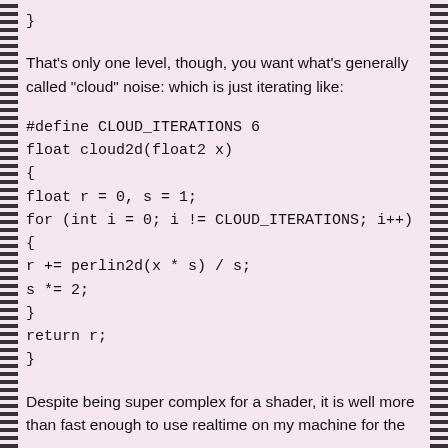}
That's only one level, though, you want what's generally called "cloud" noise: which is just iterating like:
#define CLOUD_ITERATIONS 6
float cloud2d(float2 x)
{
float r = 0, s = 1;
for (int i = 0; i != CLOUD_ITERATIONS; i++)
{
r += perlin2d(x * s) / s;
s *= 2;
}
return r;
}
Despite being super complex for a shader, it is well more than fast enough to use realtime on my machine for the